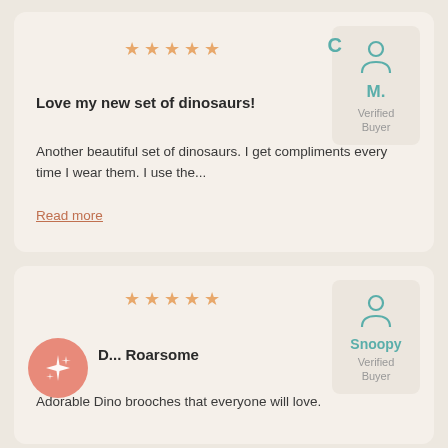★★★★★
[Figure (illustration): User avatar icon (person silhouette) in teal, with letter C beside it]
C
M.
Verified Buyer
Love my new set of dinosaurs!
Another beautiful set of dinosaurs. I get compliments every time I wear them. I use the...
Read more
★★★★★
[Figure (illustration): User avatar icon (person silhouette) in teal]
Snoopy
Verified Buyer
[Figure (illustration): Pink circle badge with sparkle/star burst icon]
D... Roarsome
Adorable Dino brooches that everyone will love.